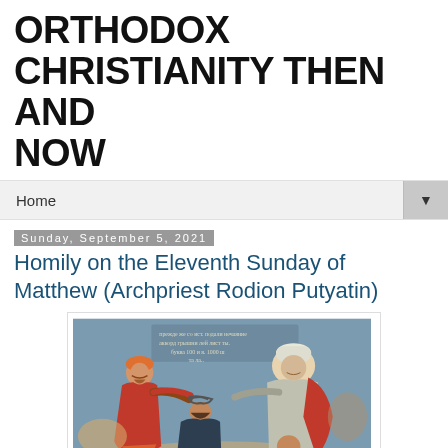ORTHODOX CHRISTIANITY THEN AND NOW
Home
Sunday, September 5, 2021
Homily on the Eleventh Sunday of Matthew (Archpriest Rodion Putyatin)
[Figure (illustration): Orthodox religious icon painting depicting several figures in medieval robes and turbans, with Slavonic text inscriptions at the top of the image.]